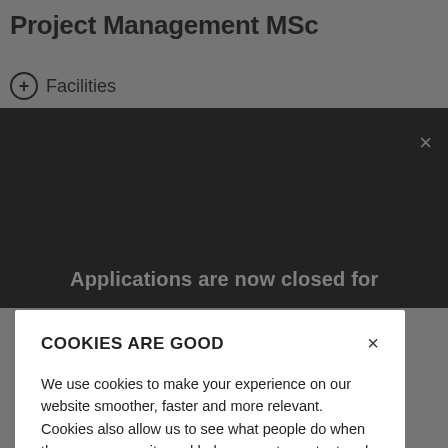Project Management MSc
+ Facilities
[Figure (screenshot): Black video/media panel with partially visible text 'Applications are now closed for' and a close (×) button in the upper right]
COOKIES ARE GOOD
We use cookies to make your experience on our website smoother, faster and more relevant. Cookies also allow us to see what people do when they are on our site and help us create content and tailor our marketing to you. So go on, click 'yes to all cookies'. Review our Website Privacy Policy
Yes to all cookies
Let me choose